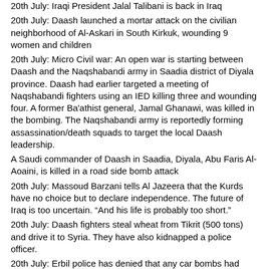20th July: Iraqi President Jalal Talibani is back in Iraq
20th July: Daash launched a mortar attack on the civilian neighborhood of Al-Askari in South Kirkuk, wounding 9 women and children
20th July: Micro Civil war: An open war is starting between Daash and the Naqshabandi army in Saadia district of Diyala province. Daash had earlier targeted a meeting of Naqshabandi fighters using an IED killing three and wounding four. A former Ba'athist general, Jamal Ghanawi, was killed in the bombing. The Naqshabandi army is reportedly forming assassination/death squads to target the local Daash leadership.
A Saudi commander of Daash in Saadia, Diyala, Abu Faris Al-Aoaini, is killed in a road side bomb attack
20th July: Massoud Barzani tells Al Jazeera that the Kurds have no choice but to declare independence. The future of Iraq is too uncertain. “And his life is probably too short.”
20th July: Daash fighters steal wheat from Tikrit (500 tons) and drive it to Syria. They have also kidnapped a police officer.
20th July: Erbil police has denied that any car bombs had entered the city. Rumours had spread earlier when Facebook users had listed the make and license numbers of cars that were going to be used.
20th July: Maliki (current Prime Minister) has held a meeting with Ibrahim al-Jaafari (former Prime Minister) regarding the choosing of the future Prime Minister and government formation.